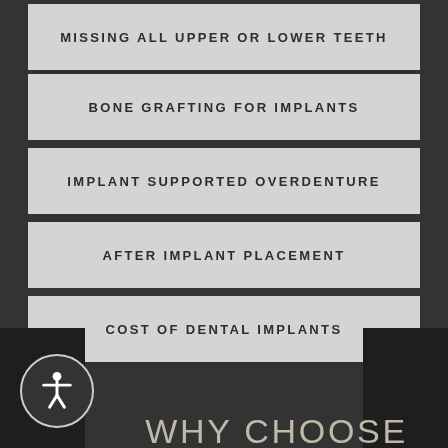MISSING ALL UPPER OR LOWER TEETH
BONE GRAFTING FOR IMPLANTS
IMPLANT SUPPORTED OVERDENTURE
AFTER IMPLANT PLACEMENT
COST OF DENTAL IMPLANTS
WHY CHOOSE